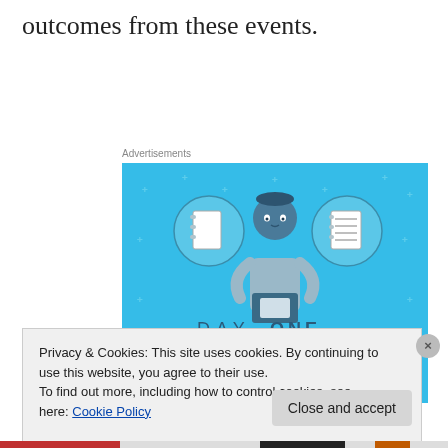outcomes from these events.
Advertisements
[Figure (illustration): Day One journaling app advertisement. Light blue background with a cartoon figure of a person holding a smartphone, flanked by two circular icons — one showing a blank notebook page and one showing a lined notebook page. Text reads: DAY ONE - The only journaling app you'll ever need.]
Privacy & Cookies: This site uses cookies. By continuing to use this website, you agree to their use.
To find out more, including how to control cookies, see here: Cookie Policy